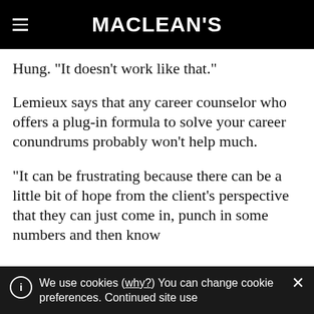MACLEAN'S
Hung. “It doesn’t work like that.”
Lemieux says that any career counselor who offers a plug-in formula to solve your career conundrums probably won’t help much.
“It can be frustrating because there can be a little bit of hope from the client’s perspective that they can just come in, punch in some numbers and then know
We use cookies (why?) You can change cookie preferences. Continued site use